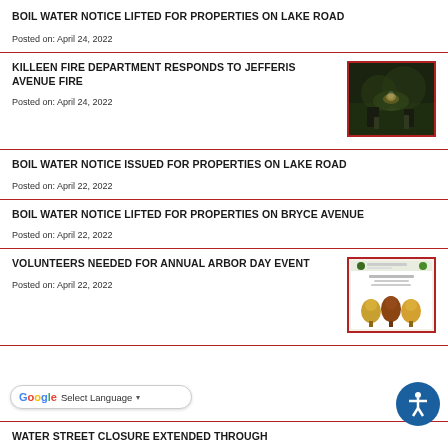BOIL WATER NOTICE LIFTED FOR PROPERTIES ON LAKE ROAD
Posted on: April 24, 2022
KILLEEN FIRE DEPARTMENT RESPONDS TO JEFFERIS AVENUE FIRE
Posted on: April 24, 2022
[Figure (photo): Night scene of firefighters responding to a fire on Jefferis Avenue, dark background with flames/smoke visible]
BOIL WATER NOTICE ISSUED FOR PROPERTIES ON LAKE ROAD
Posted on: April 22, 2022
BOIL WATER NOTICE LIFTED FOR PROPERTIES ON BRYCE AVENUE
Posted on: April 22, 2022
VOLUNTEERS NEEDED FOR ANNUAL ARBOR DAY EVENT
Posted on: April 22, 2022
[Figure (photo): National Arbor Day event flyer with decorative trees]
WATER STREET CLOSURE EXTENDED THROUGH